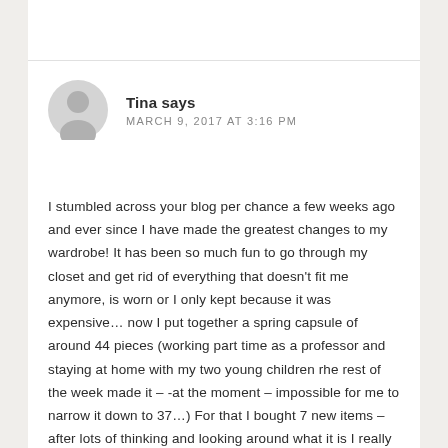Tina says
MARCH 9, 2017 AT 3:16 PM
I stumbled across your blog per chance a few weeks ago and ever since I have made the greatest changes to my wardrobe! It has been so much fun to go through my closet and get rid of everything that doesn't fit me anymore, is worn or I only kept because it was expensive… now I put together a spring capsule of around 44 pieces (working part time as a professor and staying at home with my two young children rhe rest of the week made it – -at the moment – impossible for me to narrow it down to 37…) For that I bought 7 new items – after lots of thinking and looking around what it is I really want